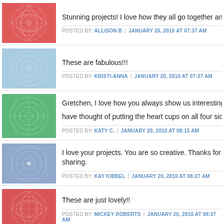Stunning projects! I love how they all go together and the colou…
POSTED BY: ALLISON B | JANUARY 20, 2010 AT 07:37 AM
These are fabulous!!!
POSTED BY: KRISTI-ANNA | JANUARY 20, 2010 AT 07:37 AM
Gretchen, I love how you always show us interesting new ideas… have thought of putting the heart cups on all four sides. Way cut…
POSTED BY: KATY C. | JANUARY 20, 2010 AT 08:15 AM
I love your projects. You are so creative. Thanks for sharing.
POSTED BY: KAY KIBBEL | JANUARY 20, 2010 AT 08:27 AM
These are just lovely!!
POSTED BY: MICKEY ROBERTS | JANUARY 20, 2010 AT 08:37 AM
These are absolutely beautiful - love the use of Rose Red with th…